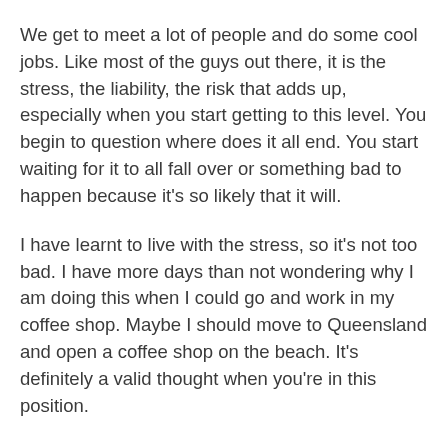We get to meet a lot of people and do some cool jobs. Like most of the guys out there, it is the stress, the liability, the risk that adds up, especially when you start getting to this level. You begin to question where does it all end. You start waiting for it to all fall over or something bad to happen because it's so likely that it will.
I have learnt to live with the stress, so it's not too bad. I have more days than not wondering why I am doing this when I could go and work in my coffee shop. Maybe I should move to Queensland and open a coffee shop on the beach. It's definitely a valid thought when you're in this position.
Would you start Nicholson Builders all over again?